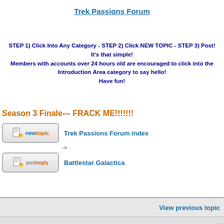Trek Passions Forum
STEP 1) Click Into Any Category - STEP 2) Click NEW TOPIC - STEP 3) Post!
It's that simple!
Members with accounts over 24 hours old are encouraged to click into the Introduction Area category to say hello!
Have fun!
Season 3 Finale--- FRACK ME!!!!!!!
[Figure (screenshot): New Topic button - orange document icon with 'newtopic' text]
Trek Passions Forum index
[Figure (screenshot): Post Reply button - orange document icon with 'postreply' text]
-> Battlestar Galactica
View previous topic